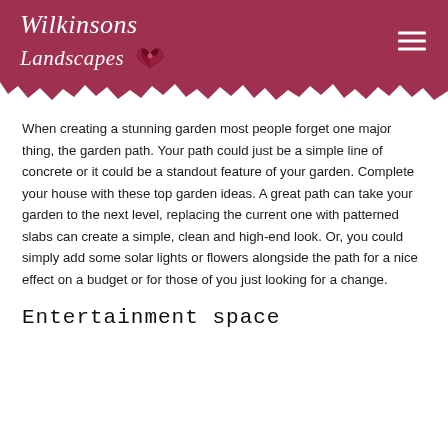Wilkinsons Landscapes
When creating a stunning garden most people forget one major thing, the garden path. Your path could just be a simple line of concrete or it could be a standout feature of your garden. Complete your house with these top garden ideas. A great path can take your garden to the next level, replacing the current one with patterned slabs can create a simple, clean and high-end look. Or, you could simply add some solar lights or flowers alongside the path for a nice effect on a budget or for those of you just looking for a change.
Entertainment space